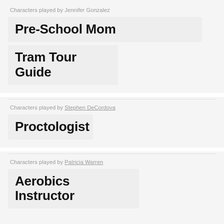Characters played by Jennifer Gonzalez
Pre-School Mom
Tram Tour Guide
Characters played by Stephen DeCordova
Proctologist
Characters played by Patricia Warren
Aerobics Instructor